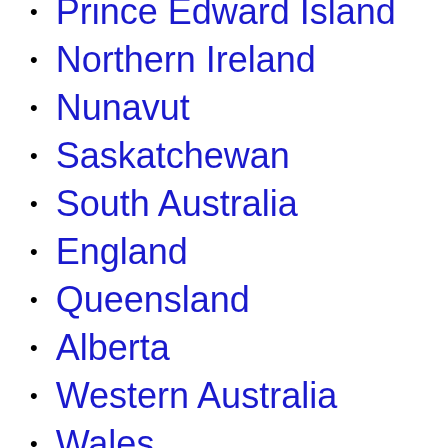Prince Edward Island
Northern Ireland
Nunavut
Saskatchewan
South Australia
England
Queensland
Alberta
Western Australia
Wales
Australian Capital Territory
Yukon